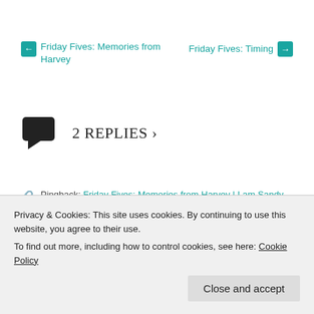← Friday Fives: Memories from Harvey
Friday Fives: Timing →
2 REPLIES ›
Pingback: Friday Fives: Memories from Harvey | I am Sandy Kay
Pingback: Hurricane Harvey – 1 year later | I am Sandy Kay
Privacy & Cookies: This site uses cookies. By continuing to use this website, you agree to their use.
To find out more, including how to control cookies, see here: Cookie Policy
Close and accept